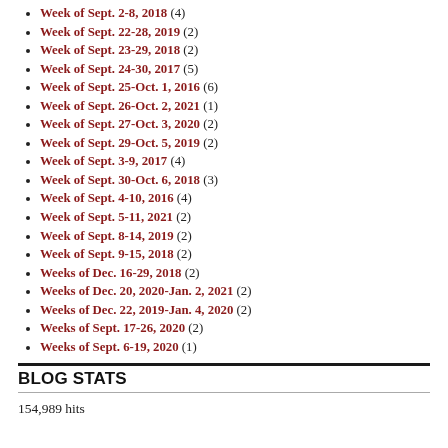Week of Sept. 2-8, 2018 (4)
Week of Sept. 22-28, 2019 (2)
Week of Sept. 23-29, 2018 (2)
Week of Sept. 24-30, 2017 (5)
Week of Sept. 25-Oct. 1, 2016 (6)
Week of Sept. 26-Oct. 2, 2021 (1)
Week of Sept. 27-Oct. 3, 2020 (2)
Week of Sept. 29-Oct. 5, 2019 (2)
Week of Sept. 3-9, 2017 (4)
Week of Sept. 30-Oct. 6, 2018 (3)
Week of Sept. 4-10, 2016 (4)
Week of Sept. 5-11, 2021 (2)
Week of Sept. 8-14, 2019 (2)
Week of Sept. 9-15, 2018 (2)
Weeks of Dec. 16-29, 2018 (2)
Weeks of Dec. 20, 2020-Jan. 2, 2021 (2)
Weeks of Dec. 22, 2019-Jan. 4, 2020 (2)
Weeks of Sept. 17-26, 2020 (2)
Weeks of Sept. 6-19, 2020 (1)
BLOG STATS
154,989 hits